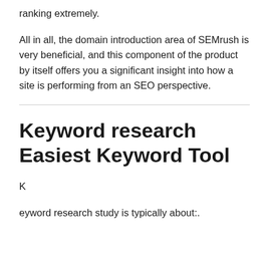ranking extremely.
All in all, the domain introduction area of SEMrush is very beneficial, and this component of the product by itself offers you a significant insight into how a site is performing from an SEO perspective.
Keyword research Easiest Keyword Tool
K
eyword research study is typically about:.